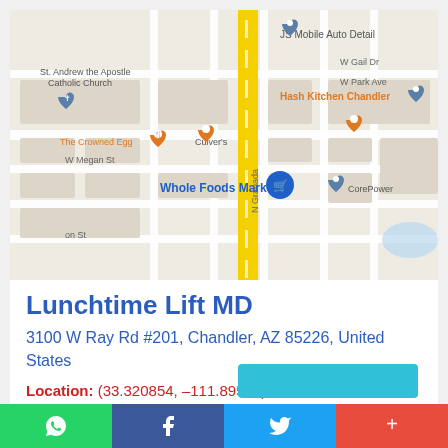[Figure (map): Google Maps screenshot showing area around 3100 W Ray Rd, Chandler, AZ. Shows landmarks: JS Mobile Auto Detail, St. Andrew the Apostle Catholic Church, The Crowned Egg, Culver's, Hash Kitchen Chandler, Whole Foods Market, CorePower, W Megan St, N Granada, N Sicily, ice Rd, N Price Rd, W Gail Dr, W Park Ave.]
Lunchtime Lift MD
3100 W Ray Rd #201, Chandler, AZ 85226, United States
Location: (33.320854, –111.89566)
Rating: 1/5 ★☆☆☆☆ (1) Votes